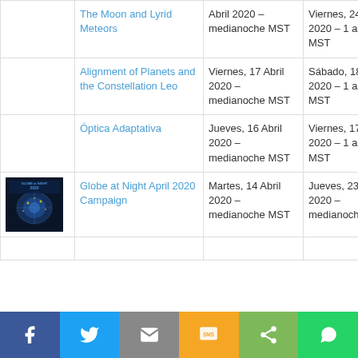|  | Event | Start | End |
| --- | --- | --- | --- |
|  | The Moon and Lyrid Meteors | Abril 2020 – medianoche MST | Viernes, 24 Abril 2020 – 1 a.m. MST |
|  | Alignment of Planets and the Constellation Leo | Viernes, 17 Abril 2020 – medianoche MST | Sábado, 18 Abril 2020 – 1 a.m. MST |
|  | Óptica Adaptativa | Jueves, 16 Abril 2020 – medianoche MST | Viernes, 17 Abril 2020 – 1 a.m. MST |
| [image] | Globe at Night April 2020 Campaign | Martes, 14 Abril 2020 – medianoche MST | Jueves, 23 Abril 2020 – medianoche MST |
Facebook | Twitter | Email | SMS | Share | WhatsApp